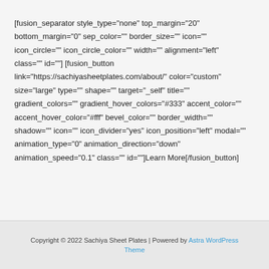[fusion_separator style_type="none" top_margin="20" bottom_margin="0" sep_color="" border_size="" icon="" icon_circle="" icon_circle_color="" width="" alignment="left" class="" id=""] [fusion_button link="https://sachiyasheetplates.com/about/" color="custom" size="large" type="" shape="" target="_self" title="" gradient_colors="" gradient_hover_colors="#333" accent_color="" accent_hover_color="#fff" bevel_color="" border_width="" shadow="" icon="" icon_divider="yes" icon_position="left" modal="" animation_type="0" animation_direction="down" animation_speed="0.1" class="" id=""]Learn More[/fusion_button]
Copyright © 2022 Sachiya Sheet Plates | Powered by Astra WordPress Theme